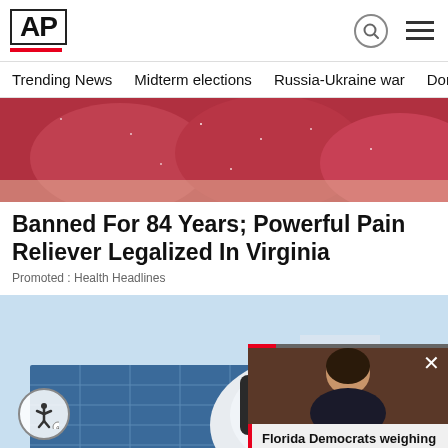AP
Trending News
Midterm elections
Russia-Ukraine war
Dona...
[Figure (photo): Close-up photo of sugary red candy pieces held in a hand]
Banned For 84 Years; Powerful Pain Reliever Legalized In Virginia
Promoted : Health Headlines
[Figure (photo): Electric vehicle charging at a station with solar panels in background]
[Figure (photo): Video overlay thumbnail showing a woman speaking, with caption: Florida Democrats weighing candidates to chal...]